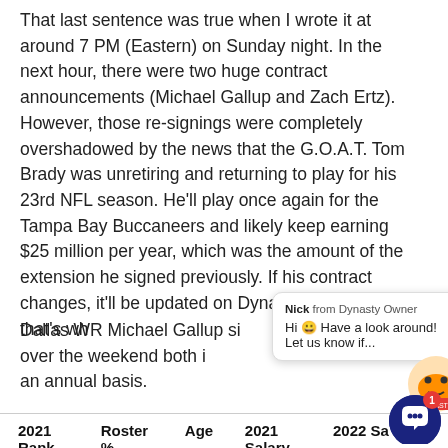That last sentence was true when I wrote it at around 7 PM (Eastern) on Sunday night. In the next hour, there were two huge contract announcements (Michael Gallup and Zach Ertz). However, those re-signings were completely overshadowed by the news that the G.O.A.T. Tom Brady was unretiring and returning to play for his 23rd NFL season. He'll play once again for the Tampa Bay Buccaneers and likely keep earning $25 million per year, which was the amount of the extension he signed previously. If his contract changes, it'll be updated on Dynasty Owner, but that's wh
Dallas WR Michael Gallup si over the weekend both inter an annual basis.
[Figure (screenshot): Chat widget popup from Dynasty Owner with Nick avatar, greeting message: Hi smiley Have a look around! Let us know if...]
| 2021 Rank | Roster % | Age | 2021 Salary | 2022 Sa |
| --- | --- | --- | --- | --- |
[Figure (other): Red circular chat notification button with white chat icon and red badge showing number 1]